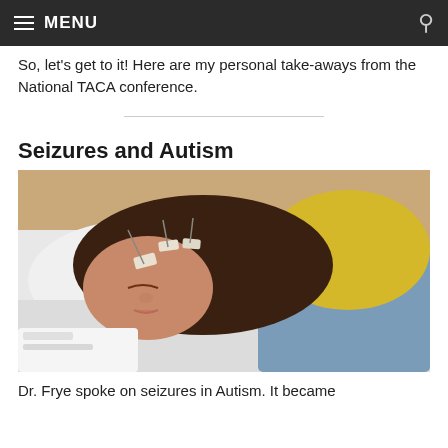MENU
So, let's get to it! Here are my personal take-aways from the National TACA conference.
Seizures and Autism
[Figure (photo): A young girl with EEG electrodes on her head lying on a pillow/bed wearing a yellow shirt and blue jeans, eyes closed, appearing to be undergoing an EEG test for seizures.]
Dr. Frye spoke on seizures in Autism. It became